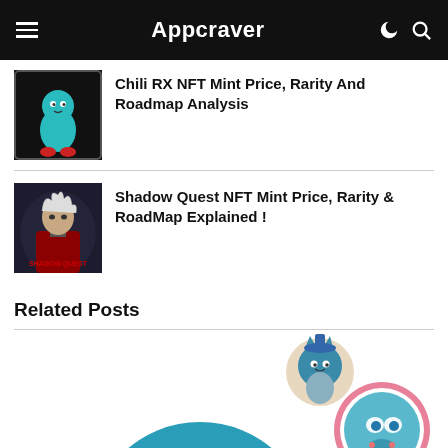Appcraver
Chili RX NFT Mint Price, Rarity And Roadmap Analysis
Shadow Quest NFT Mint Price, Rarity & RoadMap Explained !
Related Posts
[Figure (illustration): Colorful cartoon NFT characters including a large teal round character with a smaller blue cat-like figure and a pink-bordered blue alien character at the bottom of the page]